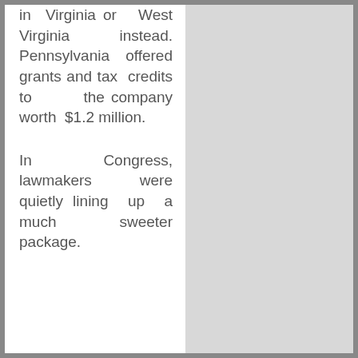in Virginia or West Virginia instead. Pennsylvania offered grants and tax credits to the company worth $1.2 million.
In Congress, lawmakers were quietly lining up a much sweeter package.